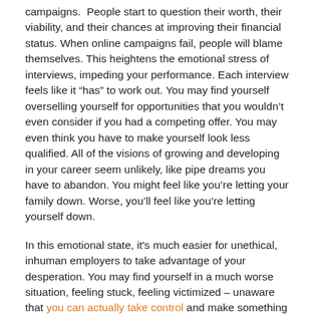campaigns. People start to question their worth, their viability, and their chances at improving their financial status. When online campaigns fail, people will blame themselves. This heightens the emotional stress of interviews, impeding your performance. Each interview feels like it “has” to work out. You may find yourself overselling yourself for opportunities that you wouldn’t even consider if you had a competing offer. You may even think you have to make yourself look less qualified. All of the visions of growing and developing in your career seem unlikely, like pipe dreams you have to abandon. You might feel like you’re letting your family down. Worse, you’ll feel like you’re letting yourself down.
In this emotional state, it's much easier for unethical, inhuman employers to take advantage of your desperation. You may find yourself in a much worse situation, feeling stuck, feeling victimized – unaware that you can actually take control and make something happen.
It’s the whole negative tailspin of career confidence that is the worst part of relying on online efforts to produce results. You’ll